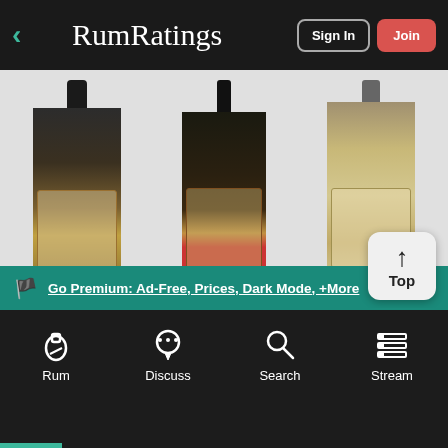RumRatings  Sign In  Join
[Figure (photo): Three rum bottles displayed: 2008 Guatemala D.A.R.S.A. 10-Year (dark bottle), 2001 Diamond 15-Year (dark bottle with red label band), Jamaica 15-Year (lighter amber bottle)]
2008 Guatemala D.A.R.S.A. 10-Year
2001 Diamond 15-Year
Jamaica 15-Year
Go Premium: Ad-Free, Prices, Dark Mode, +More
Rum  Discuss  Search  Stream